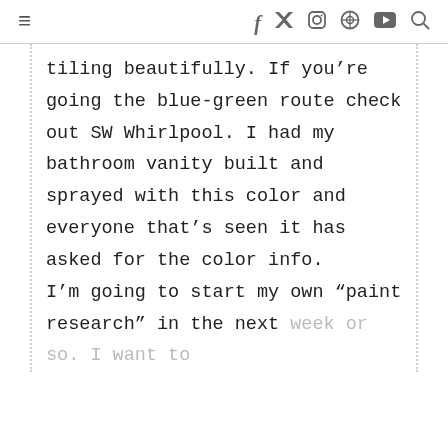≡  f  𝕏  ⊙  ⊕  ▶  🔍
tiling beautifully. If you're going the blue-green route check out SW Whirlpool. I had my bathroom vanity built and sprayed with this color and everyone that's seen it has asked for the color info.
I'm going to start my own "paint research" in the next week or so. I want to